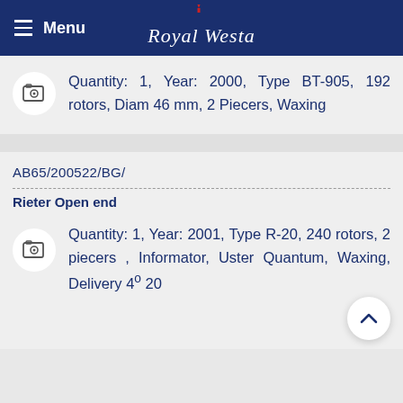Menu | Royal Westa
Quantity: 1, Year: 2000, Type BT-905, 192 rotors, Diam 46 mm, 2 Piecers, Waxing
AB65/200522/BG/
Rieter Open end
Quantity: 1, Year: 2001, Type R-20, 240 rotors, 2 piecers , Informator, Uster Quantum, Waxing, Delivery 4º 20